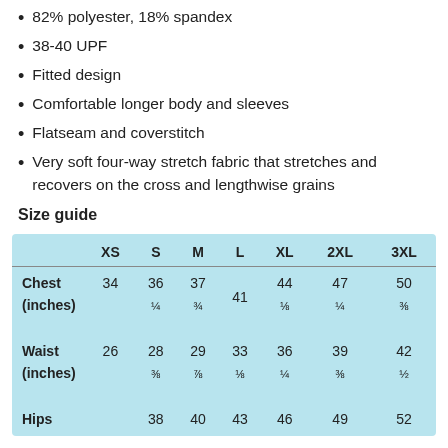82% polyester, 18% spandex
38-40 UPF
Fitted design
Comfortable longer body and sleeves
Flatseam and coverstitch
Very soft four-way stretch fabric that stretches and recovers on the cross and lengthwise grains
Size guide
|  | XS | S | M | L | XL | 2XL | 3XL |
| --- | --- | --- | --- | --- | --- | --- | --- |
| Chest (inches) | 34 | 36 ¼ | 37 ¾ | 41 | 44 ⅛ | 47 ¼ | 50 ⅜ |
| Waist (inches) | 26 | 28 ⅜ | 29 ⅞ | 33 ⅛ | 36 ¼ | 39 ⅜ | 42 ½ |
| Hips | 37 | 38 | 40 | 43 | 46 | 49 | 52 |